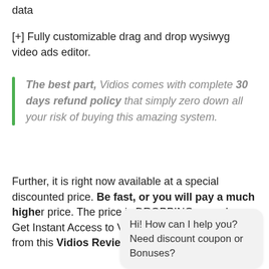data
[+] Fully customizable drag and drop wysiwyg video ads editor.
The best part, Vidios comes with complete 30 days refund policy that simply zero down all your risk of buying this amazing system.
Further, it is right now available at a special discounted price. Be fast, or you will pay a much higher price. The price is DROPPING every hour. Get Instant Access to Vidios now with my bonuses from this Vidios Review before the cart closes.
Hi! How can I help you? Need discount coupon or Bonuses?